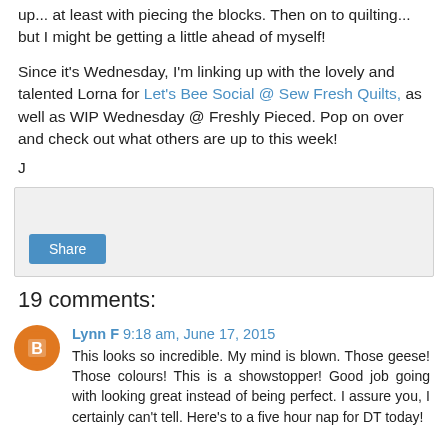up... at least with piecing the blocks. Then on to quilting... but I might be getting a little ahead of myself!
Since it's Wednesday, I'm linking up with the lovely and talented Lorna for Let's Bee Social @ Sew Fresh Quilts, as well as WIP Wednesday @ Freshly Pieced. Pop on over and check out what others are up to this week!
J
[Figure (other): Share button widget box with a teal/blue Share button]
19 comments:
Lynn F 9:18 am, June 17, 2015
This looks so incredible. My mind is blown. Those geese! Those colours! This is a showstopper! Good job going with looking great instead of being perfect. I assure you, I certainly can't tell. Here's to a five hour nap for DT today!